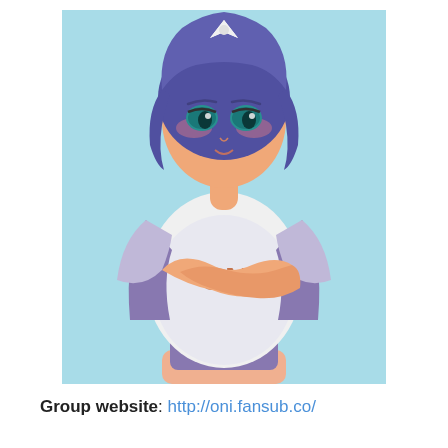[Figure (illustration): Anime-style illustration of a young woman with short dark purple hair and a white hair bow, wearing a white t-shirt with 'ONI' printed on it in orange letters and purple shorts/undergarment, hugging herself with both arms crossed over her chest, against a light blue background.]
Group website: http://oni.fansub.co/